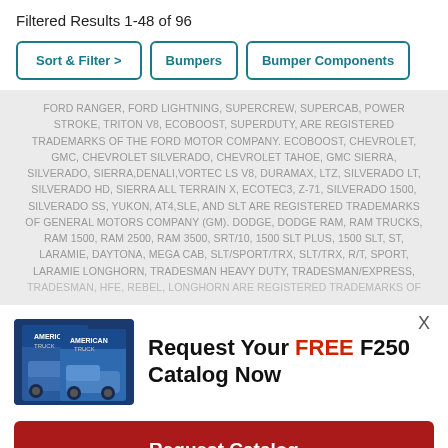Filtered Results 1-48 of 96
Sort & Filter >
Bumpers
Bumper Components
FORD RANGER, FORD LIGHTNING, SUPERCREW, SUPERCAB, POWER STROKE, TRITON V8, ECOBOOST, SUPERDUTY, ARE REGISTERED TRADEMARKS OF THE FORD MOTOR COMPANY. ECOBOOST, CHEVROLET, GMC, CHEVROLET SILVERADO, CHEVROLET TAHOE, GMC SIERRA, SILVERADO, SIERRA,DENALI,VORTEC LS V8, DURAMAX, LTZ, SILVERADO LT, SILVERADO HD, SIERRA ALL TERRAIN X, ECOTEC3, Z-71, SILVERADO 1500, SILVERADO SS, YUKON, AT4,SLE, AND SLT ARE REGISTERED TRADEMARKS OF GENERAL MOTORS COMPANY (GM). DODGE, DODGE RAM, RAM TRUCKS, RAM 1500, RAM 2500, RAM 3500, SRT/10, 1500 SLT PLUS, 1500 SLT, ST, LARAMIE, DAYTONA, MEGA CAB, SLT/SPORT/TRX, SLT/TRX, R/T, SPORT, LARAMIE LONGHORN, TRADESMAN HEAVY DUTY, TRADESMAN/EXPRESS, TRADESMAN, HFE, REBEL, LONGHORN ARE REGISTERED TRADEMARKS OF
X
Request Your FREE F250 Catalog Now
[Figure (photo): Two truck catalogs/magazines featuring blue trucks on cover]
Request Catalog